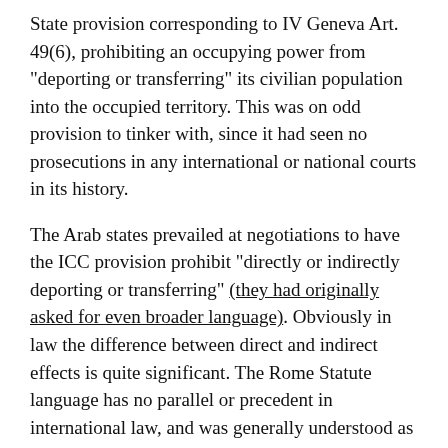State provision corresponding to IV Geneva Art. 49(6), prohibiting an occupying power from "deporting or transferring" its civilian population into the occupied territory. This was on odd provision to tinker with, since it had seen no prosecutions in any international or national courts in its history.
The Arab states prevailed at negotiations to have the ICC provision prohibit "directly or indirectly deporting or transferring" (they had originally asked for even broader language). Obviously in law the difference between direct and indirect effects is quite significant. The Rome Statute language has no parallel or precedent in international law, and was generally understood as seeking to go beyond the Geneva Conventions to encompass the self-motivated migration of Israelis into the West Bank (and back then, Gaza). It was designed to make "facilitation" a crime - i.e., to turn the negative prohibition on "transfer" into a newfangled positive obligation on a government to